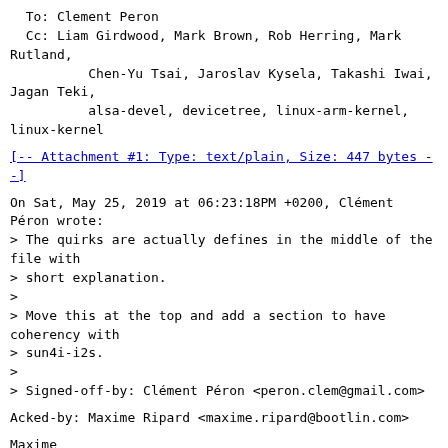To: Clement Peron
  Cc: Liam Girdwood, Mark Brown, Rob Herring, Mark Rutland,
          Chen-Yu Tsai, Jaroslav Kysela, Takashi Iwai, Jagan Teki,
          alsa-devel, devicetree, linux-arm-kernel, linux-kernel
[-- Attachment #1: Type: text/plain, Size: 447 bytes --]
On Sat, May 25, 2019 at 06:23:18PM +0200, Clément Péron wrote:
> The quirks are actually defines in the middle of the file with
> short explanation.
>
> Move this at the top and add a section to have coherency with
> sun4i-i2s.
>
> Signed-off-by: Clément Péron <peron.clem@gmail.com>
Acked-by: Maxime Ripard <maxime.ripard@bootlin.com>
Maxime
--
Maxime Ripard, Bootlin
Embedded Linux and Kernel engineering